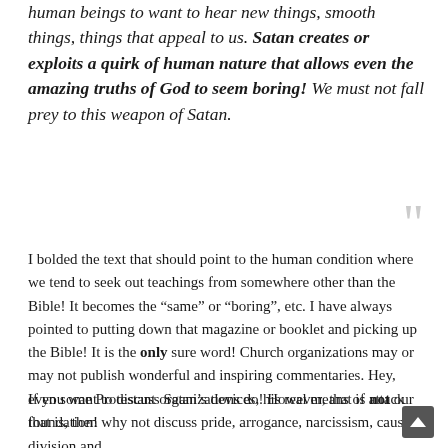human beings to want to hear new things, smooth things, things that appeal to us. Satan creates or exploits a quirk of human nature that allows even the amazing truths of God to seem boring! We must not fall prey to this weapon of Satan.
I bolded the text that should point to the human condition where we tend to seek out teachings from somewhere other than the Bible! It becomes the “same” or “boring”, etc. I have always pointed to putting down that magazine or booklet and picking up the Bible! It is the only sure word! Church organizations may or may not publish wonderful and inspiring commentaries. Hey, even some Protestant organizations do! However, that is not our foundation!
If you want to discuss Satan’s devices, his real means of attack that is, then why not discuss pride, arrogance, narcissism, causing division and